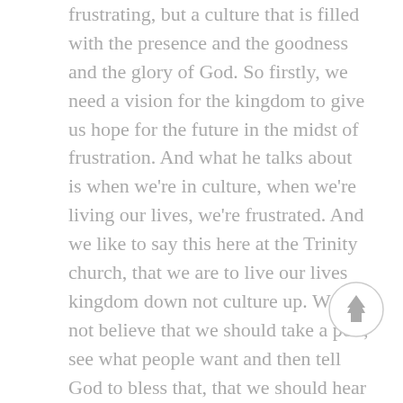frustrating, but a culture that is filled with the presence and the goodness and the glory of God. So firstly, we need a vision for the kingdom to give us hope for the future in the midst of frustration. And what he talks about is when we're in culture, when we're living our lives, we're frustrated. And we like to say this here at the Trinity church, that we are to live our lives kingdom down not culture up. We do not believe that we should take a poll, see what people want and then tell God to bless that, that we should hear from God, and we should repent of sin, and change our behavior to come into alignment with a kingdom that will never end because the culture and all cultures, will come to an end, but the kingdom of God will endure forever. Which
[Figure (other): A circular grey scroll-to-top button with an upward arrow icon]